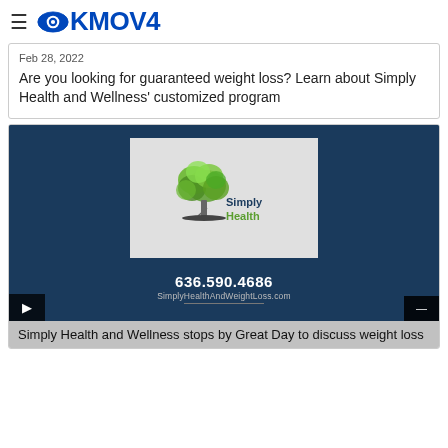≡ KMOV4
Feb 28, 2022
Are you looking for guaranteed weight loss? Learn about Simply Health and Wellness' customized program
[Figure (screenshot): Video thumbnail showing Simply Health logo with tree graphic, phone number 636.590.4686, and website SimplyHealthAndWeightLoss.com on a dark navy background. Play button and minimize button visible at bottom corners.]
Simply Health and Wellness stops by Great Day to discuss weight loss